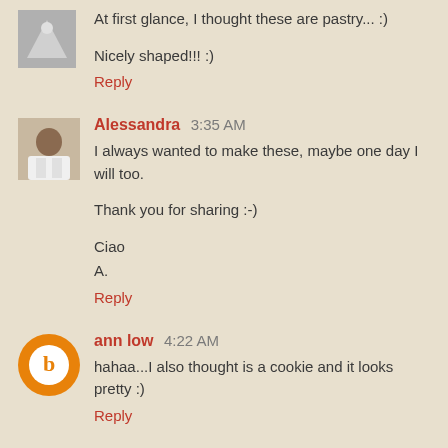At first glance, I thought these are pastry... :)
Nicely shaped!!! :)
Reply
Alessandra 3:35 AM
I always wanted to make these, maybe one day I will too.
Thank you for sharing :-)
Ciao
A.
Reply
ann low 4:22 AM
hahaa...I also thought is a cookie and it looks pretty :)
Reply